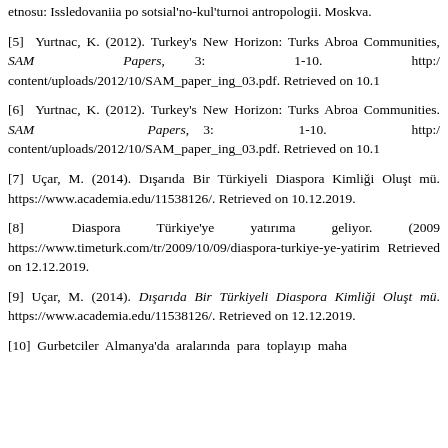etnosu: Issledovaniia po sotsial'no-kul'turnoi antropologii. Moskva.
[5] Yurtnac, K. (2012). Turkey's New Horizon: Turks Abroad and Foreign Communities, SAM Papers, 3: 1-10. http://content/uploads/2012/10/SAM_paper_ing_03.pdf. Retrieved on 10.1
[6] Yurtnac, K. (2012). Turkey's New Horizon: Turks Abroad and Foreign Communities. SAM Papers, 3: 1-10. http://content/uploads/2012/10/SAM_paper_ing_03.pdf. Retrieved on 10.1
[7] Uçar, M. (2014). Dışarıda Bir Türkiyeli Diaspora Kimliği Oluştu mü. https://www.academia.edu/11538126/. Retrieved on 10.12.2019.
[8] Diaspora Türkiye'ye yatırıma geliyor. (2009). https://www.timeturk.com/tr/2009/10/09/diaspora-turkiye-ye-yatirim Retrieved on 12.12.2019.
[9] Uçar, M. (2014). Dışarıda Bir Türkiyeli Diaspora Kimliği Oluştu mü. https://www.academia.edu/11538126/. Retrieved on 12.12.2019.
[10] Gurbetciler Almanya'da aralarında para toplayıp mahalle